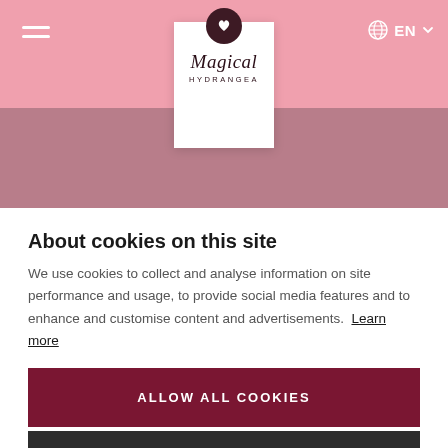[Figure (logo): Magical Hydrangea logo — white card with dark circular icon featuring a leaf/flower, italic serif 'Magical' text and uppercase 'HYDRANGEA' subtitle. Pink header bar with hamburger menu on left and EN language selector on right. Dusty rose hero image area below header.]
About cookies on this site
We use cookies to collect and analyse information on site performance and usage, to provide social media features and to enhance and customise content and advertisements. Learn more
ALLOW ALL COOKIES
COOKIE SETTINGS